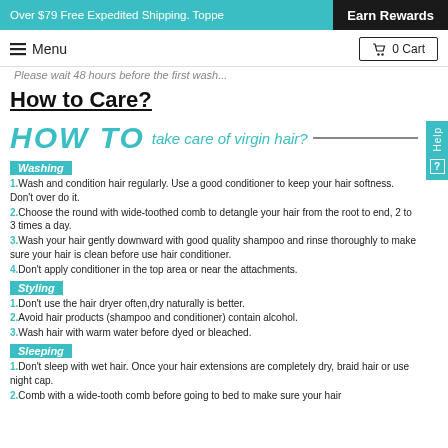Over $79 Free Expedited Shipping. Toppe... Earn Rewards
Menu   0 Cart
Please wait 48 hours before the first wash...
How to Care?
[Figure (infographic): HOW TO take care of virgin hair? infographic with sections: Washing, Styling, Sleeping and numbered care instructions]
Washing
1.Wash and condition hair regularly. Use a good conditioner to keep your hair softness. Don't over do it.
2.Choose the round with wide-toothed comb to detangle your hair from the root to end, 2 to 3 times a day.
3.Wash your hair gently downward with good quality shampoo and rinse thoroughly to make sure your hair is clean before use hair conditioner.
4.Don't apply conditioner in the top area or near the attachments.
Styling
1.Don't use the hair dryer often,dry naturally is better.
2.Avoid hair products (shampoo and conditioner) contain alcohol.
3.Wash hair with warm water before dyed or bleached.
Sleeping
1.Don't sleep with wet hair. Once your hair extensions are completely dry, braid hair or use night cap.
2.Comb with a wide-tooth comb before going to bed to make sure your hair